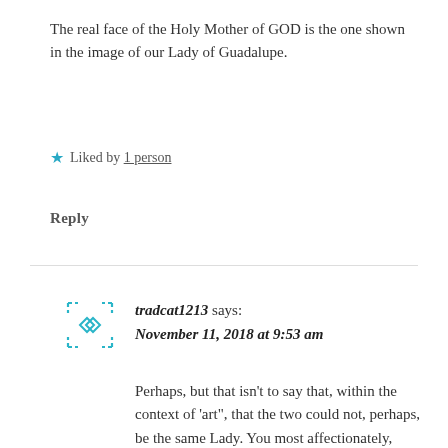The real face of the Holy Mother of GOD is the one shown in the image of our Lady of Guadalupe.
★ Liked by 1 person
Reply
tradcat1213 says: November 11, 2018 at 9:53 am
Perhaps, but that isn't to say that, within the context of 'art", that the two could not, perhaps, be the same Lady. You most affectionately, have a more vested interest in O.L.G. I feel that the eyes are the most captivating aspect of this rendering. I feel as if she truly looks into my soul.